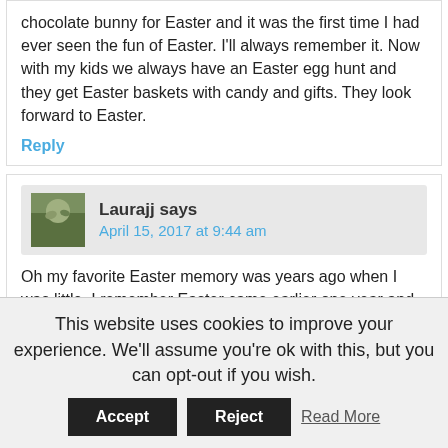chocolate bunny for Easter and it was the first time I had ever seen the fun of Easter. I'll always remember it. Now with my kids we always have an Easter egg hunt and they get Easter baskets with candy and gifts. They look forward to Easter.
Reply
Laurajj says April 15, 2017 at 9:44 am
Oh my favorite Easter memory was years ago when I was little, I remember Easter came earlier one year and we had tons of snow! We did an Easter egg hunt in the snow and had so much fun!
Reply
This website uses cookies to improve your experience. We'll assume you're ok with this, but you can opt-out if you wish.
Accept Reject Read More